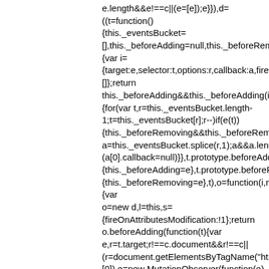e.length&&e!==c||(e=[e]);e}}),d=((t=function(){this._eventsBucket=[],this._beforeAdding=null,this._beforeRemoving=null}).{var i={target:e,selector:t,options:r,callback:a,firedElems:[]};return this._beforeAdding&&this._beforeAdding(i),this._events{for(var t,r=this._eventsBucket.length-1;t=this._eventsBucket[r];r--)if(e(t)){this._beforeRemoving&&this._beforeRemoving(t);var a=this._eventsBucket.splice(r,1);a&&a.length&&(a[0].callback=null)}},t.prototype.beforeAdding=function{this._beforeAdding=e},t.prototype.beforeRemoving=function{this._beforeRemoving=e},t),o=function(i,n){var o=new d,l=this,s={fireOnAttributesModification:!1};return o.beforeAdding(function(t){var e,r=t.target;r!==c.document&&r!==c||(r=document.getElementsByTagName("html")[0]),e=new MutationObserver(function(e){n.call(this,e,t)});var a=i(t.options);e.observe(r,a),t.observer=e,t.me=l}),o.bef{e.observer.disconnect()}),this.bindEvent=function(e,t,r){t=u.mergeArrays(s,t);for(var a=u.toElementsArray(this),i=0;i<a.length;i++)o.addEver